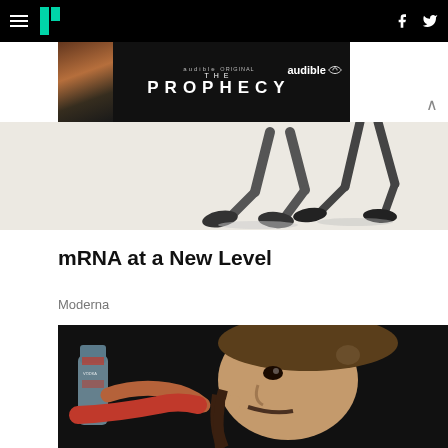HuffPost navigation bar with hamburger menu, logo, Facebook and Twitter icons
[Figure (screenshot): Audible Original 'The Prophecy' advertisement banner with dark background and audible logo]
[Figure (photo): Two people's legs walking/dancing on a light beige background in the lower ad area]
mRNA at a New Level
Moderna
[Figure (photo): Man wearing a brown cap drinking from a water bottle, photographed from below against a dark background]